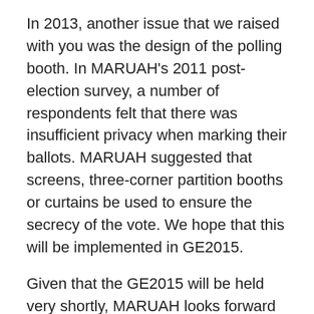In 2013, another issue that we raised with you was the design of the polling booth. In MARUAH's 2011 post-election survey, a number of respondents felt that there was insufficient privacy when marking their ballots. MARUAH suggested that screens, three-corner partition booths or curtains be used to ensure the secrecy of the vote. We hope that this will be implemented in GE2015.
Given that the GE2015 will be held very shortly, MARUAH looks forward to working with the Elections Department to ensure that our polls are held in a free and fair manner at all levels of the electoral process. MARUAH has listed below a few areas that the Elections Department needs to pay urgent attention to.
Security of ballot boxes
We note the change in election procedures, as described